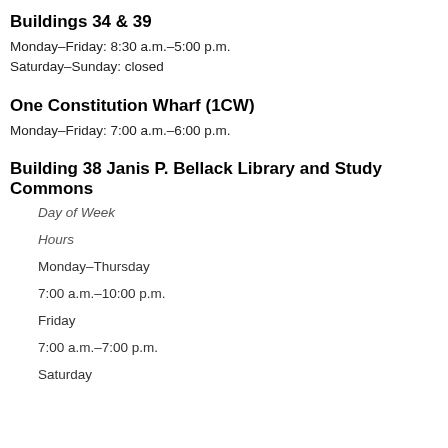Buildings 34 & 39
Monday–Friday: 8:30 a.m.–5:00 p.m.
Saturday–Sunday: closed
One Constitution Wharf (1CW)
Monday–Friday: 7:00 a.m.–6:00 p.m.
Building 38 Janis P. Bellack Library and Study Commons
Day of Week
Hours
Monday–Thursday
7:00 a.m.–10:00 p.m.
Friday
7:00 a.m.–7:00 p.m.
Saturday